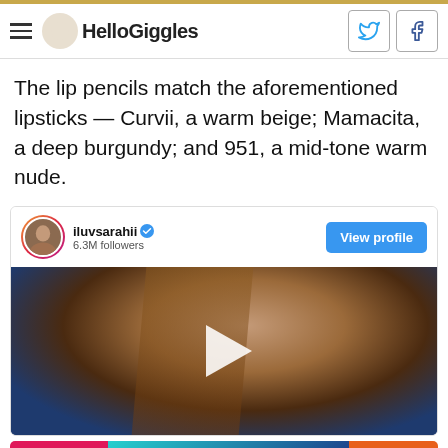HelloGiggles
The lip pencils match the aforementioned lipsticks — Curvii, a warm beige; Mamacita, a deep burgundy; and 951, a mid-tone warm nude.
[Figure (screenshot): Instagram embed card showing user iluvsarahii with 6.3M followers and a View profile button, with a video thumbnail of a woman with eye makeup on a blue background and a play button overlay]
[Figure (infographic): Advertisement banner: GET UP TO AN EXTRA 50% OFF | END OF SUMMER SALE-A-THON | SHOP NOW]